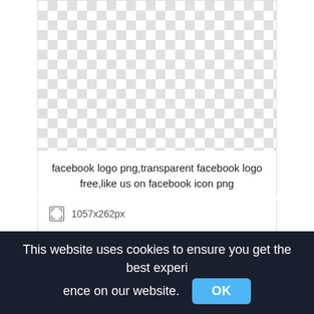[Figure (screenshot): Transparent checkerboard pattern representing a PNG image with no visible content (transparent background). Card-style container with white background and border.]
facebook logo png,transparent facebook logo free,like us on facebook icon png
1057x262px
[Figure (screenshot): Row of thumbnail-sized checkerboard squares representing a strip of transparent PNG image thumbnails.]
This website uses cookies to ensure you get the best experience on our website.